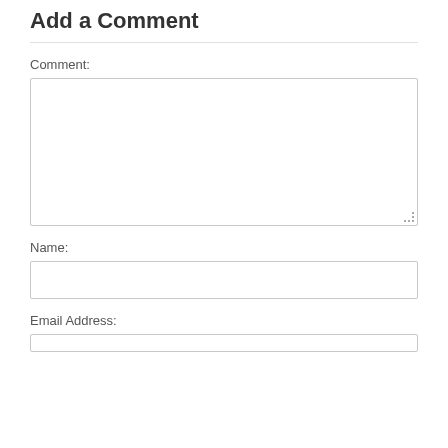Add a Comment
Comment:
[Figure (other): Large textarea input box for comment text, with resize handle at bottom right]
Name:
[Figure (other): Single-line text input box for name]
Email Address:
[Figure (other): Single-line text input box for email address (partially visible)]